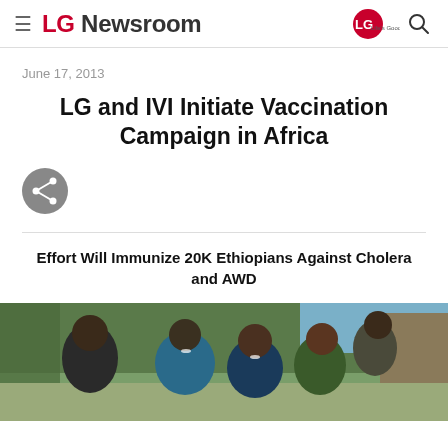≡  LG Newsroom
June 17, 2013
LG and IVI Initiate Vaccination Campaign in Africa
Effort Will Immunize 20K Ethiopians Against Cholera and AWD
[Figure (photo): Group of smiling Ethiopian children and a young adult outdoors]